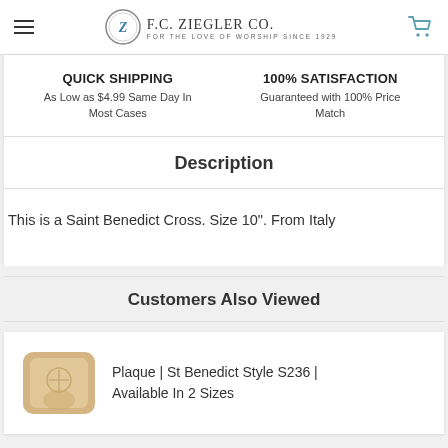F.C. Ziegler Co. For The Love Of Worship Since 1929
QUICK SHIPPING
As Low as $4.99 Same Day In Most Cases
100% SATISFACTION
Guaranteed with 100% Price Match
Description
This is a Saint Benedict Cross. Size 10". From Italy
Customers Also Viewed
Plaque | St Benedict Style S236 | Available In 2 Sizes